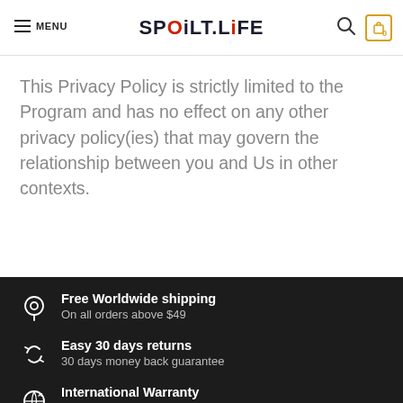MENU  SPOiLT.LiFE  [search icon] [cart: 0]
This Privacy Policy is strictly limited to the Program and has no effect on any other privacy policy(ies) that may govern the relationship between you and Us in other contexts.
Free Worldwide shipping
On all orders above $49
Easy 30 days returns
30 days money back guarantee
International Warranty
Offered in the country of usage